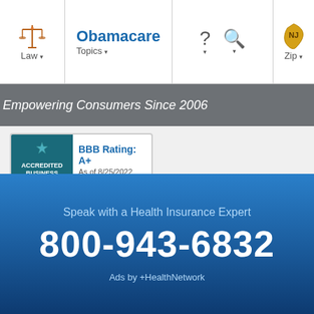Law | Obamacare Topics | ? | Search | Zip
Empowering Consumers Since 2006
[Figure (logo): BBB Accredited Business logo with rating A+ as of 8/25/2022, Click for Profile]
COMPANY INFORMATION
About
Authors
Contact Us
Terms of Use
Security, Privacy & Cookies
WEBSITE INFORMATION
Browse All Topics
Lawyers Near Me
50-State Voter Registration
Copyright © 2006-2022 RelationalVision Database Solutions, LLC dba LegalConsumer.com Self-help services may not be permitted in all states. The information provided on this site is not legal
Speak with a Health Insurance Expert
800-943-6832
Ads by +HealthNetwork